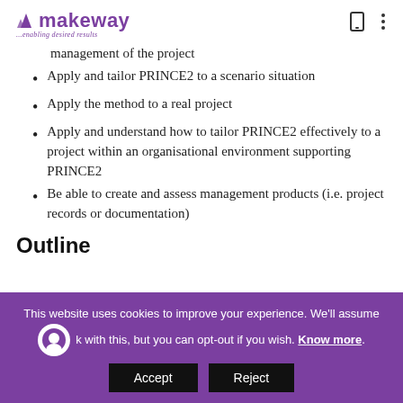makeway — enabling desired results
management of the project
Apply and tailor PRINCE2 to a scenario situation
Apply the method to a real project
Apply and understand how to tailor PRINCE2 effectively to a project within an organisational environment supporting PRINCE2
Be able to create and assess management products (i.e. project records or documentation)
Outline
This website uses cookies to improve your experience. We'll assume ok with this, but you can opt-out if you wish. Know more. Accept Reject